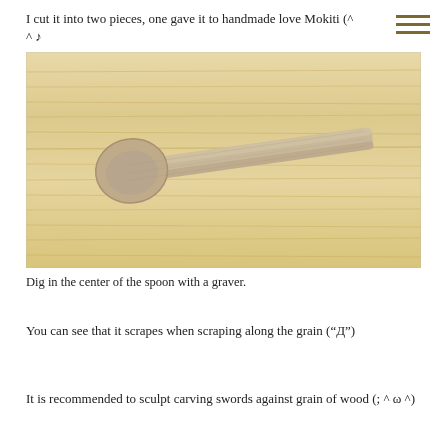I cut it into two pieces, one gave it to handmade love Mokiti (^ ^ ♪
[Figure (photo): A hand-carved wooden spoon lying on a light wood grain surface. The spoon has a round bowl on the left and a flat rectangular handle extending to the right.]
Dig in the center of the spoon with a graver.
You can see that it scrapes when scraping along the grain (“Д”)
It is recommended to sculpt carving swords against grain of wood (; ^ ω ^)